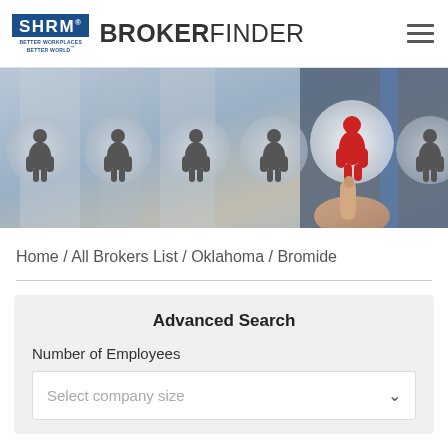SHRM BROKERFINDER
[Figure (photo): Hero image showing a businessman's hand pointing at a glowing red person icon among a row of grey person icons on circular buttons]
Home / All Brokers List / Oklahoma / Bromide
Advanced Search
Number of Employees
Select company size